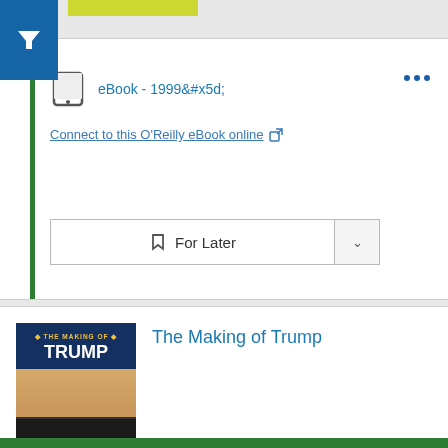[Figure (screenshot): Blue filter button with funnel icon in top-left corner]
eBook - 1999&#x5d;
Connect to this O'Reilly eBook online
For Later
The Making of Trump
[Figure (photo): Book cover for The Making of Trump showing Donald Trump in front of American flag background]
DVD - 2016
Available View details